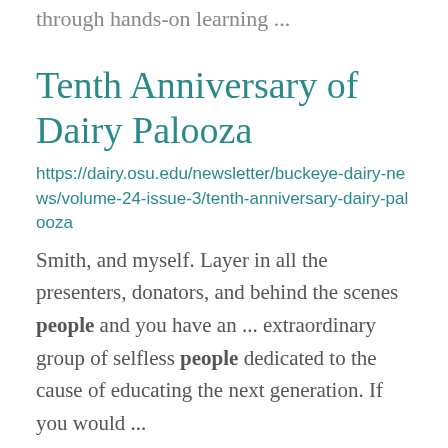through hands-on learning ...
Tenth Anniversary of Dairy Palooza
https://dairy.osu.edu/newsletter/buckeye-dairy-news/volume-24-issue-3/tenth-anniversary-dairy-palooza
Smith, and myself. Layer in all the presenters, donators, and behind the scenes people and you have an ... extraordinary group of selfless people dedicated to the cause of educating the next generation. If you would ...
Dr. Dee Jepsen